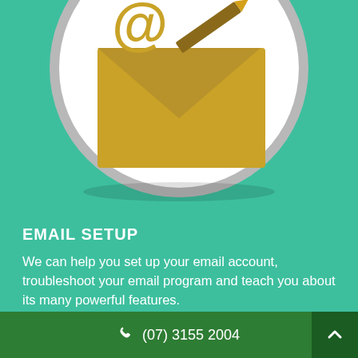[Figure (illustration): Email icon inside a circular frame: envelope with @ symbol and a pencil, in gold/yellow color on white background, set against teal/green background]
EMAIL SETUP
We can help you set up your email account, troubleshoot your email program and teach you about its many powerful features.
Know More
(07) 3155 2004